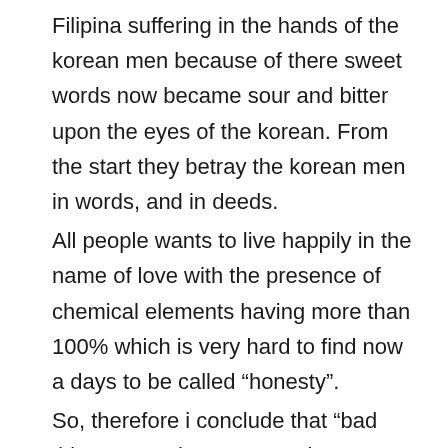Filipina suffering in the hands of the korean men because of there sweet words now became sour and bitter upon the eyes of the korean. From the start they betray the korean men in words, and in deeds.
All people wants to live happily in the name of love with the presence of chemical elements having more than 100% which is very hard to find now a days to be called “honesty”.
So, therefore i conclude that “bad things never last.” Cause there was a KARMA which was the result of bad doings of some filipina girls towards to the KOREAN MEN.
I, strongly recommend to a girl with a devil spirit having a feather skin of their soul even they are still be alive to;
1. Marry a korean men not for the money but for love.
2. ...